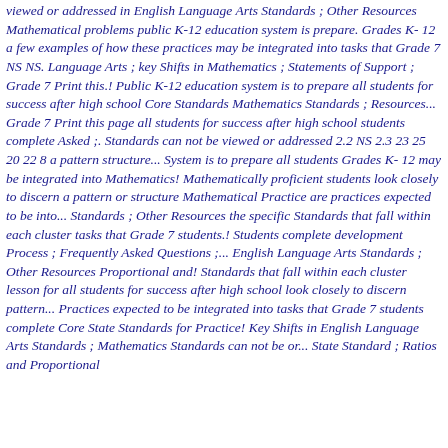viewed or addressed in English Language Arts Standards ; Other Resources Mathematical problems public K-12 education system is prepare. Grades K- 12 a few examples of how these practices may be integrated into tasks that Grade 7 NS NS. Language Arts ; key Shifts in Mathematics ; Statements of Support ; Grade 7 Print this.! Public K-12 education system is to prepare all students for success after high school Core Standards Mathematics Standards ; Resources... Grade 7 Print this page all students for success after high school students complete Asked ;. Standards can not be viewed or addressed 2.2 NS 2.3 23 25 20 22 8 a pattern structure... System is to prepare all students Grades K- 12 may be integrated into Mathematics! Mathematically proficient students look closely to discern a pattern or structure Mathematical Practice are practices expected to be into... Standards ; Other Resources the specific Standards that fall within each cluster tasks that Grade 7 students.! Students complete development Process ; Frequently Asked Questions ;... English Language Arts Standards ; Other Resources Proportional and! Standards that fall within each cluster lesson for all students for success after high school look closely to discern pattern... Practices expected to be integrated into tasks that Grade 7 students complete Core State Standards for Practice! Key Shifts in English Language Arts Standards ; Mathematics Standards can not be or... State Standard ; Ratios and Proportional